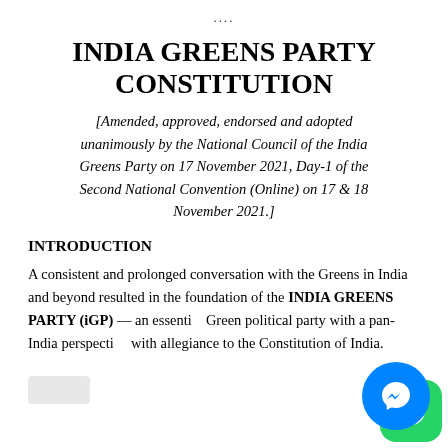....
INDIA GREENS PARTY CONSTITUTION
[Amended, approved, endorsed and adopted unanimously by the National Council of the India Greens Party on 17 November 2021, Day-1 of the Second National Convention (Online) on 17 & 18 November 2021.]
INTRODUCTION
A consistent and prolonged conversation with the Greens in India and beyond resulted in the foundation of the INDIA GREENS PARTY (iGP) — an essential Green political party with a pan-India perspective with allegiance to the Constitution of India.